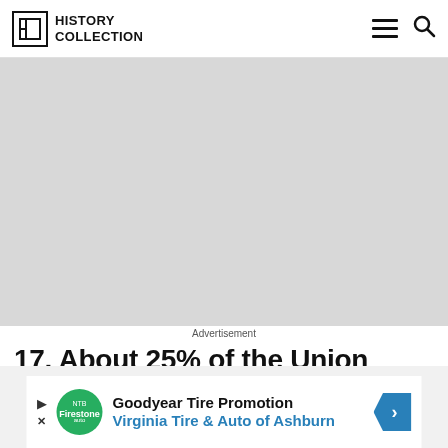HISTORY COLLECTION
[Figure (photo): Large gray placeholder image area representing a photo]
17. About 25% of the Union army were
Advertisement
[Figure (other): Advertisement banner: Goodyear Tire Promotion - Virginia Tire & Auto of Ashburn]